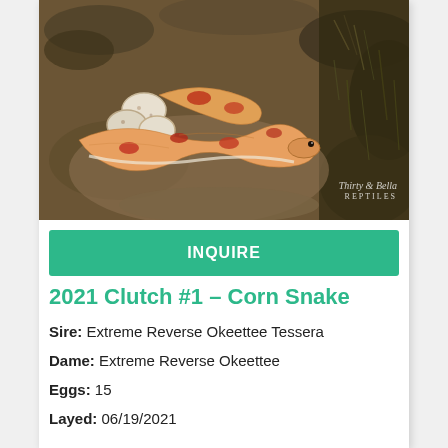[Figure (photo): Photo of baby corn snakes hatching from eggs, nestled in substrate/moss. Snakes are orange and white with red markings. Watermark reads 'Thirty & Bella REPTILES' in bottom right corner.]
INQUIRE
2021 Clutch #1 – Corn Snake
Sire: Extreme Reverse Okeettee Tessera
Dame: Extreme Reverse Okeettee
Eggs: 15
Layed: 06/19/2021